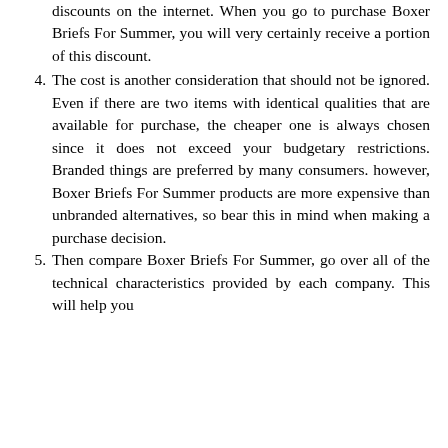discounts on the internet. When you go to purchase Boxer Briefs For Summer, you will very certainly receive a portion of this discount.
4. The cost is another consideration that should not be ignored. Even if there are two items with identical qualities that are available for purchase, the cheaper one is always chosen since it does not exceed your budgetary restrictions. Branded things are preferred by many consumers. however, Boxer Briefs For Summer products are more expensive than unbranded alternatives, so bear this in mind when making a purchase decision.
5. Then compare Boxer Briefs For Summer, go over all of the technical characteristics provided by each company. This will help you